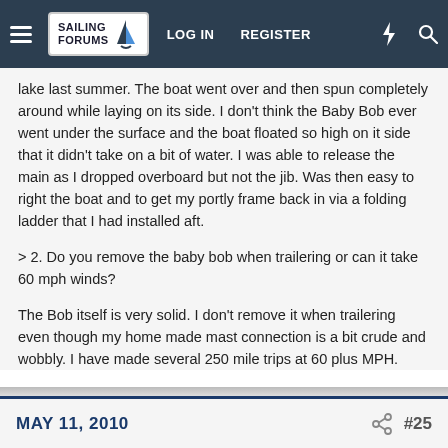SAILING FORUMS | LOG IN | REGISTER
lake last summer. The boat went over and then spun completely around while laying on its side. I don't think the Baby Bob ever went under the surface and the boat floated so high on it side that it didn't take on a bit of water. I was able to release the main as I dropped overboard but not the jib. Was then easy to right the boat and to get my portly frame back in via a folding ladder that I had installed aft.
> 2. Do you remove the baby bob when trailering or can it take 60 mph winds?
The Bob itself is very solid. I don't remove it when trailering even though my home made mast connection is a bit crude and wobbly. I have made several 250 mile trips at 60 plus MPH.
MAY 11, 2010   #25